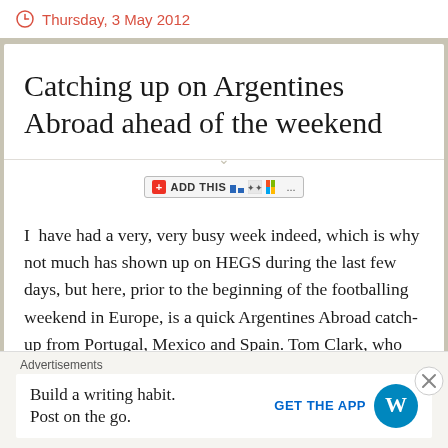Thursday, 3 May 2012
Catching up on Argentines Abroad ahead of the weekend
[Figure (other): AddThis social sharing widget button]
I  have had a very, very busy week indeed, which is why not much has shown up on HEGS during the last few days, but here, prior to the beginning of the footballing weekend in Europe, is a quick Argentines Abroad catch-up from Portugal, Mexico and Spain. Tom Clark, who blogs here, is our Mexican correspondent. The...
Advertisements
Build a writing habit. Post on the go. GET THE APP